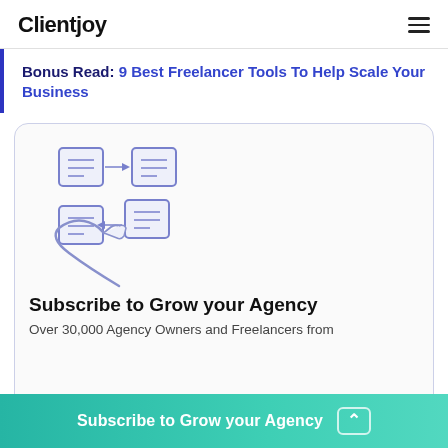Clientjoy
Bonus Read: 9 Best Freelancer Tools To Help Scale Your Business
[Figure (illustration): Hand-drawn style illustration of a hand pointing at sticky notes with arrows indicating transfer/workflow between notes]
Subscribe to Grow your Agency
Over 30,000 Agency Owners and Freelancers from
Subscribe to Grow your Agency